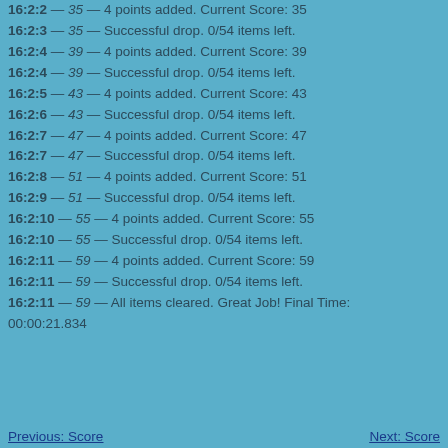16:2:2 — 35 — 4 points added. Current Score: 35
16:2:3 — 35 — Successful drop. 0/54 items left.
16:2:4 — 39 — 4 points added. Current Score: 39
16:2:4 — 39 — Successful drop. 0/54 items left.
16:2:5 — 43 — 4 points added. Current Score: 43
16:2:6 — 43 — Successful drop. 0/54 items left.
16:2:7 — 47 — 4 points added. Current Score: 47
16:2:7 — 47 — Successful drop. 0/54 items left.
16:2:8 — 51 — 4 points added. Current Score: 51
16:2:9 — 51 — Successful drop. 0/54 items left.
16:2:10 — 55 — 4 points added. Current Score: 55
16:2:10 — 55 — Successful drop. 0/54 items left.
16:2:11 — 59 — 4 points added. Current Score: 59
16:2:11 — 59 — Successful drop. 0/54 items left.
16:2:11 — 59 — All items cleared. Great Job! Final Time: 00:00:21.834
Previous: Score   Next: Score